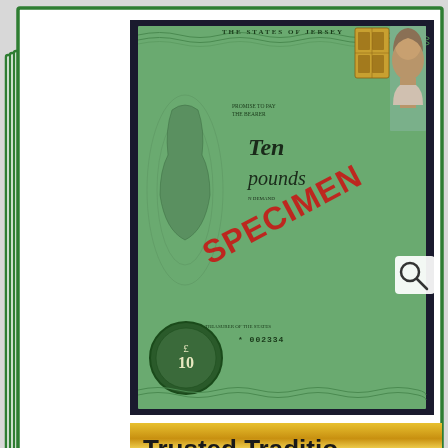[Figure (photo): Screenshot of a numismatic/collectibles website showing a States of Jersey Ten Pounds specimen banknote (£10, serial *002334) in a green-bordered display card, with a gold 'Trusted Traditions' banner partially visible at the bottom. Below is a second green-bordered card showing coin holders. An orange 'Contact Us' button is visible at the bottom right.]